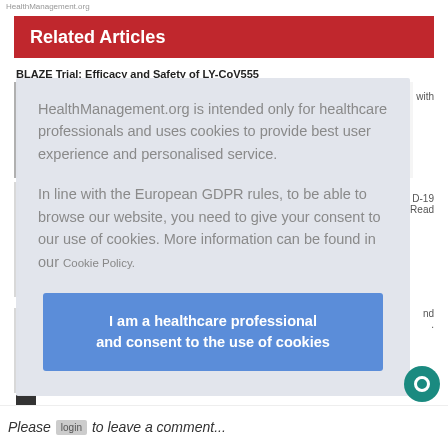Related Articles
BLAZE Trial: Efficacy and Safety of LY-CoV555
HealthManagement.org is intended only for healthcare professionals and uses cookies to provide best user experience and personalised service.

In line with the European GDPR rules, to be able to browse our website, you need to give your consent to our use of cookies. More information can be found in our Cookie Policy.
I am a healthcare professional and consent to the use of cookies
Please login to leave a comment...